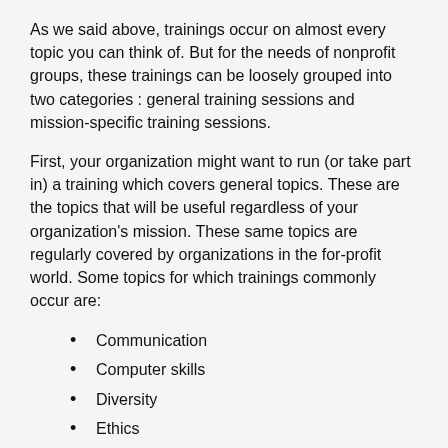As we said above, trainings occur on almost every topic you can think of. But for the needs of nonprofit groups, these trainings can be loosely grouped into two categories : general training sessions and mission-specific training sessions.
First, your organization might want to run (or take part in) a training which covers general topics. These are the topics that will be useful regardless of your organization's mission. These same topics are regularly covered by organizations in the for-profit world. Some topics for which trainings commonly occur are:
Communication
Computer skills
Diversity
Ethics
Human relations
Safety
Sexual harassment
Self-defense